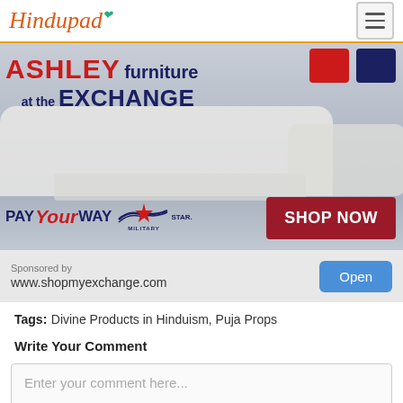Hindupad
[Figure (photo): Ashley Furniture at the Exchange advertisement banner showing a white sofa/living room setup with text 'ASHLEY furniture at the EXCHANGE', 'PAY Your WAY MILITARY STAR', and a 'SHOP NOW' button]
Sponsored by
www.shopmyexchange.com
Tags: Divine Products in Hinduism, Puja Props
Write Your Comment
Enter your comment here...